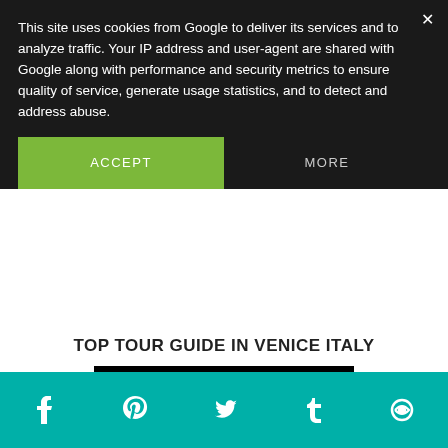This site uses cookies from Google to deliver its services and to analyze traffic. Your IP address and user-agent are shared with Google along with performance and security metrics to ensure quality of service, generate usage statistics, and to detect and address abuse.
ACCEPT
MORE
TOP TOUR GUIDE IN VENICE ITALY
[Figure (logo): Venice tour guide logo — black background with a gondolier silhouette in terracotta/salmon color on the left and the word VENICE in terracotta serif font on the right.]
TRIP DEALS